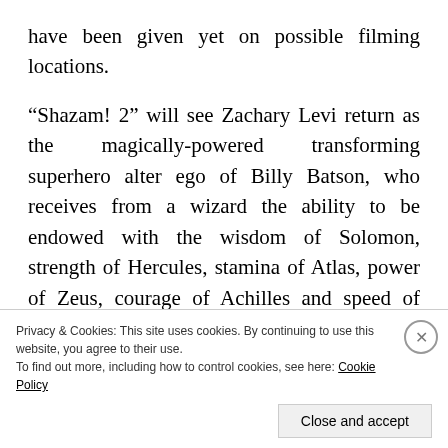have been given yet on possible filming locations.
“Shazam! 2” will see Zachary Levi return as the magically-powered transforming superhero alter ego of Billy Batson, who receives from a wizard the ability to be endowed with the wisdom of Solomon, strength of Hercules, stamina of Atlas, power of Zeus, courage of Achilles and speed of Mercury. Billy/Shazam shares this power with his foster siblings to form a team of heroes. “Black Adam” on the other hand is a corrupt former bearer of the power of Shazam from ancient Egypt, who becomes one of the mightiest
Privacy & Cookies: This site uses cookies. By continuing to use this website, you agree to their use.
To find out more, including how to control cookies, see here: Cookie Policy
Close and accept